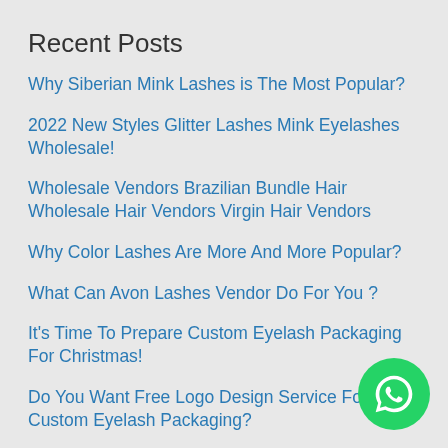Recent Posts
Why Siberian Mink Lashes is The Most Popular?
2022 New Styles Glitter Lashes Mink Eyelashes Wholesale!
Wholesale Vendors Brazilian Bundle Hair Wholesale Hair Vendors Virgin Hair Vendors
Why Color Lashes Are More And More Popular?
What Can Avon Lashes Vendor Do For You ?
It's Time To Prepare Custom Eyelash Packaging For Christmas!
Do You Want Free Logo Design Service For Custom Eyelash Packaging?
How Did You Start The Eyelash Business Successfully At Home?
What's The Process To Start An Eyelash Small Business ?
How Does Avon Lashes Guarantee The Quality Of Eyelash